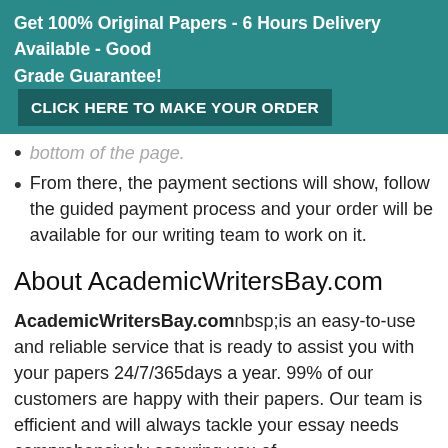Get 100% Original Papers - 6 Hours Delivery Available - Good Grade Guarantee! CLICK HERE TO MAKE YOUR ORDER
bottom of the page.
From there, the payment sections will show, follow the guided payment process and your order will be available for our writing team to work on it.
About AcademicWritersBay.com
AcademicWritersBay.comnbsp;is an easy-to-use and reliable service that is ready to assist you with your papers 24/7/365days a year. 99% of our customers are happy with their papers. Our team is efficient and will always tackle your essay needs comprehensively assuring you of
needs comprehensively assuring you of